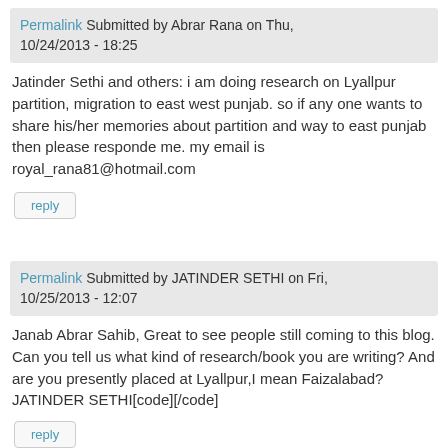Permalink Submitted by Abrar Rana on Thu, 10/24/2013 - 18:25
Jatinder Sethi and others: i am doing research on Lyallpur partition, migration to east west punjab. so if any one wants to share his/her memories about partition and way to east punjab then please responde me. my email is royal_rana81@hotmail.com
reply
Permalink Submitted by JATINDER SETHI on Fri, 10/25/2013 - 12:07
Janab Abrar Sahib, Great to see people still coming to this blog. Can you tell us what kind of research/book you are writing? And are you presently placed at Lyallpur,I mean Faizalabad? JATINDER SETHI[code][/code]